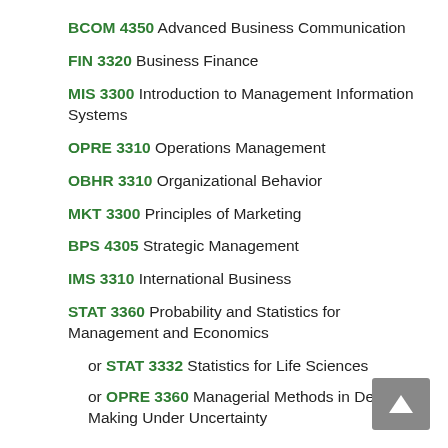BCOM 4350 Advanced Business Communication
FIN 3320 Business Finance
MIS 3300 Introduction to Management Information Systems
OPRE 3310 Operations Management
OBHR 3310 Organizational Behavior
MKT 3300 Principles of Marketing
BPS 4305 Strategic Management
IMS 3310 International Business
STAT 3360 Probability and Statistics for Management and Economics
or STAT 3332 Statistics for Life Sciences
or OPRE 3360 Managerial Methods in Decision Making Under Uncertainty